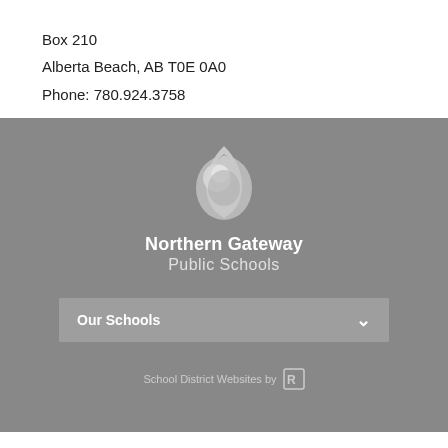Box 210
Alberta Beach, AB T0E 0A0
Phone: 780.924.3758
[Figure (logo): Northern Gateway Public Schools logo: a stylized teardrop/acorn shape in light grey tones above the school name text]
Northern Gateway Public Schools
Our Schools
School District Websites by [logo]